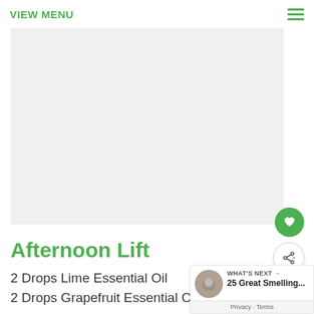VIEW MENU
[Figure (photo): Large light grey image placeholder area for the Afternoon Lift recipe article]
Afternoon Lift
2 Drops Lime Essential Oil
2 Drops Grapefruit Essential Oil
WHAT'S NEXT → 25 Great Smelling...
Privacy · Terms